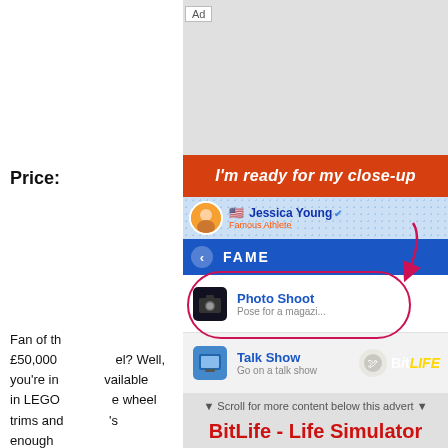Ad
Price:
[Figure (screenshot): BitLife mobile game advertisement screenshot showing: red banner 'I'm ready for my close-up', Jessica Young Famous Athlete profile, FAME menu with Photo Shoot option circled with arrow pointing to it, Talk Show option, BitLife logo]
Fan of th... £50,000 ... el? Well, you're in... vailable in LEGO... e wheel trims and... 's enough
▼ Scroll for more content below this advert ▼
BitLife - Life Simulator
How will you live your BitLife?